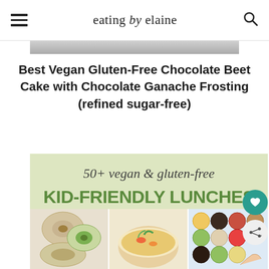eating by elaine
[Figure (photo): Partial cropped photo strip at top of page, mostly cut off]
Best Vegan Gluten-Free Chocolate Beet Cake with Chocolate Ganache Frosting (refined sugar-free)
[Figure (infographic): Promotional image for '50+ vegan & gluten-free KID-FRIENDLY LUNCHES' with three food photos: bagels with avocado, soup, and kids snack plate]